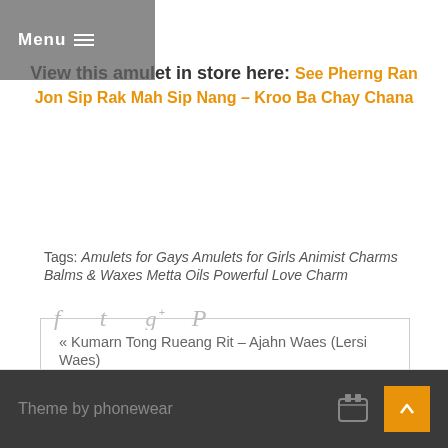Menu
View this amulet in store here: See Pherng Ran Jon Sip Rak Mah Sip Nang – Kroo Ba Chay Chana
Tags: Amulets for Gays Amulets for Girls Animist Charms Balms & Waxes Metta Oils Powerful Love Charm
« Kumarn Tong Rueang Rit – Ajahn Waes (Lersi Waes)
Nam Man Maha Sanaeh Sakot Rak – Kroo Ba Chay Chana »
[Figure (other): Social share icons: Facebook, Twitter, Google+, Pinterest]
Theme by phonewear